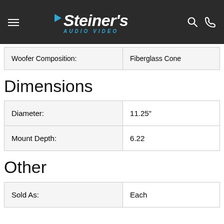Steiner's Audio Video
| Woofer Composition: | Fiberglass Cone |
Dimensions
| Diameter: | 11.25" |
| Mount Depth: | 6.22 |
Other
| Sold As: | Each |